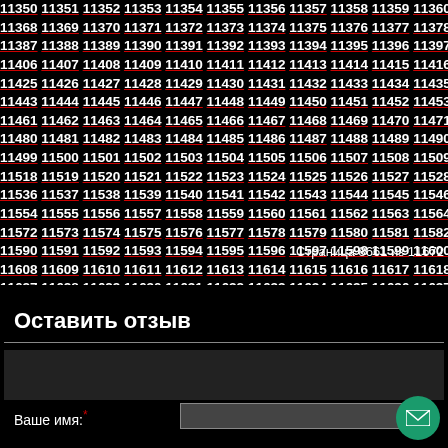11350 11351 11352 11353 11354 11355 11356 11357 11358 11359 11360 11368 11369 11370 11371 11372 11373 11374 11375 11376 11377 11378 11379 11387 11388 11389 11390 11391 11392 11393 11394 11395 11396 11397 11398 11406 11407 11408 11409 11410 11411 11412 11413 11414 11415 11416 11417 11425 11426 11427 11428 11429 11430 11431 11432 11433 11434 11435 11443 11444 11445 11446 11447 11448 11449 11450 11451 11452 11453 11461 11462 11463 11464 11465 11466 11467 11468 11469 11470 11471 11472 11480 11481 11482 11483 11484 11485 11486 11487 11488 11489 11490 11491 11499 11500 11501 11502 11503 11504 11505 11506 11507 11508 11509 11510 11518 11519 11520 11521 11522 11523 11524 11525 11526 11527 11528 11536 11537 11538 11539 11540 11541 11542 11543 11544 11545 11546 11554 11555 11556 11557 11558 11559 11560 11561 11562 11563 11564 11572 11573 11574 11575 11576 11577 11578 11579 11580 11581 11582 11590 11591 11592 11593 11594 11595 11596 11597 11598 11599 11600 11608 11609 11610 11611 11612 11613 11614 11615 11616 11617 11618 11619 11627 11628 11629 11630 11631 11632 11633 11634 11635 11636 11637 11638 11646 11647 11648 11649 11650 11651 11652 11653 11654 11655 11656 11664 11665 11666 11667 11668 11669 11670 11671 11672
Страница 8661 из 11672
Оставить отзыв
Ваше имя: